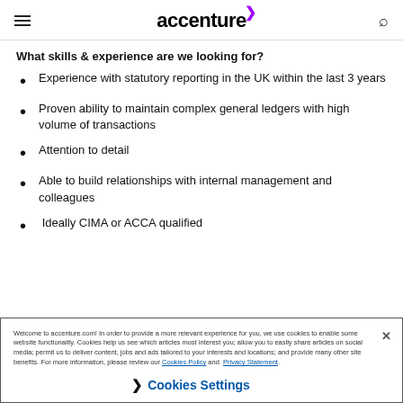accenture
What skills & experience are we looking for?
Experience with statutory reporting in the UK within the last 3 years
Proven ability to maintain complex general ledgers with high volume of transactions
Attention to detail
Able to build relationships with internal management and colleagues
Ideally CIMA or ACCA qualified
Welcome to accenture.com! In order to provide a more relevant experience for you, we use cookies to enable some website functionality. Cookies help us see which articles most interest you; allow you to easily share articles on social media; permit us to deliver content, jobs and ads tailored to your interests and locations; and provide many other site benefits. For more information, please review our Cookies Policy and Privacy Statement.
Cookies Settings